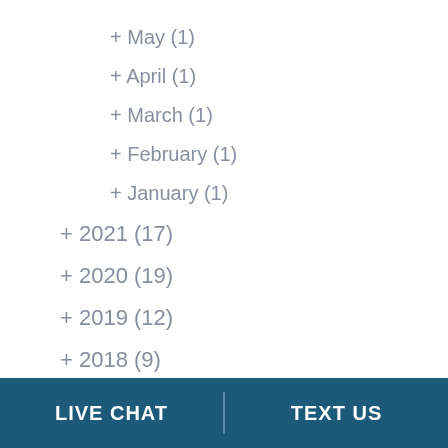+ May (1)
+ April (1)
+ March (1)
+ February (1)
+ January (1)
+ 2021 (17)
+ 2020 (19)
+ 2019 (12)
+ 2018 (9)
LIVE CHAT  TEXT US